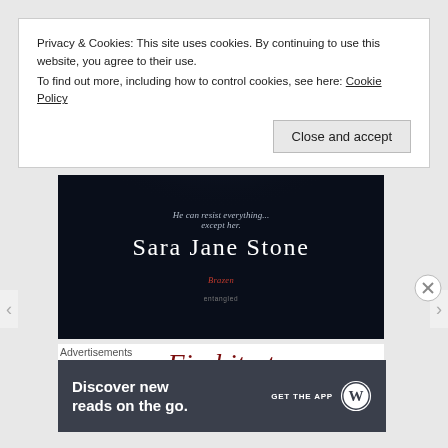Privacy & Cookies: This site uses cookies. By continuing to use this website, you agree to their use.
To find out more, including how to control cookies, see here: Cookie Policy
Close and accept
[Figure (illustration): Book cover image on dark background with text: 'He can resist everything... except her.' and author name 'Sara Jane Stone', publisher logo 'Brazen Entangled']
Find it at
Advertisements
[Figure (infographic): Advertisement banner: 'Discover new reads on the go. GET THE APP' with WordPress logo]